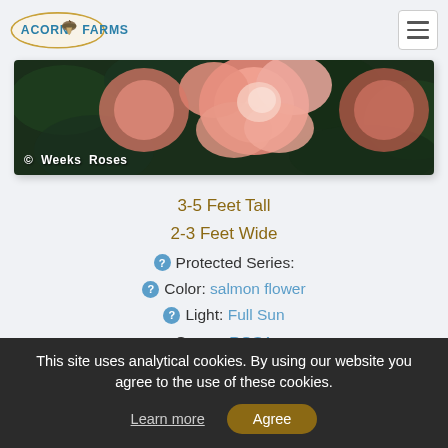Acorn Farms
[Figure (photo): Photo of pink/salmon rose flowers with dark green leaves in background, with watermark text '© Weeks Roses' in white]
© Weeks Roses
3-5 Feet Tall
2-3 Feet Wide
Protected Series:
Color: salmon flower
Light: Full Sun
Genus: ROSA
This site uses analytical cookies. By using our website you agree to the use of these cookies.
Learn more
Agree